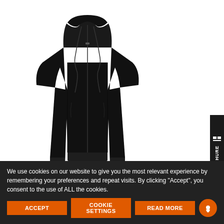[Figure (photo): Black women's hooded full zip sweatshirt displayed on a white background]
AMSTERDAM WOMEN.
Women's hooded full zipped sweatshirt
We use cookies on our website to give you the most relevant experience by remembering your preferences and repeat visits. By clicking “Accept”, you consent to the use of ALL the cookies.
ACCEPT
COOKIE SETTINGS
READ MORE